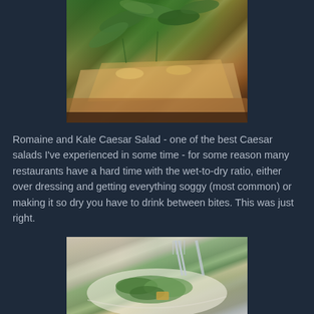[Figure (photo): Close-up photo of a pizza or flatbread topped with fresh arugula/rocket leaves on a dark surface]
Romaine and Kale Caesar Salad - one of the best Caesar salads I've experienced in some time - for some reason many restaurants have a hard time with the wet-to-dry ratio, either over dressing and getting everything soggy (most common) or making it so dry you have to drink between bites. This was just right.
[Figure (photo): Photo of a Caesar salad on a white plate with fork and knife utensils visible at the top]